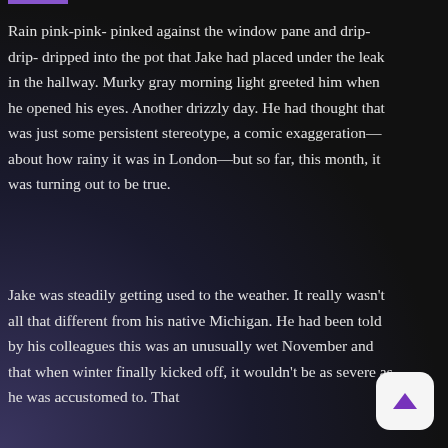Rain pink-pink- pinked against the window pane and drip-drip- dripped into the pot that Jake had placed under the leak in the hallway. Murky gray morning light greeted him when he opened his eyes. Another drizzly day. He had thought that was just some persistent stereotype, a comic exaggeration—about how rainy it was in London—but so far, this month, it was turning out to be true.
Jake was steadily getting used to the weather. It really wasn't all that different from his native Michigan. He had been told by his colleagues this was an unusually wet November and that when winter finally kicked off, it wouldn't be as severe as he was accustomed to. That